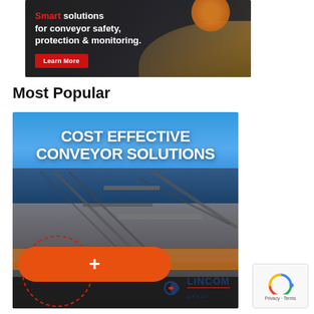[Figure (illustration): Advertisement banner for conveyor safety solutions showing industrial conveyor machinery with grain/bulk material. Text reads: Smart solutions for conveyor safety, protection & monitoring. Red Learn More button.]
Most Popular
[Figure (illustration): Lincom Group advertisement showing industrial conveyor structure against blue sky. Bold white text: COST EFFECTIVE CONVEYOR SOLUTIONS. Orange pill button with plus sign at bottom left, Lincom Group logo at bottom right.]